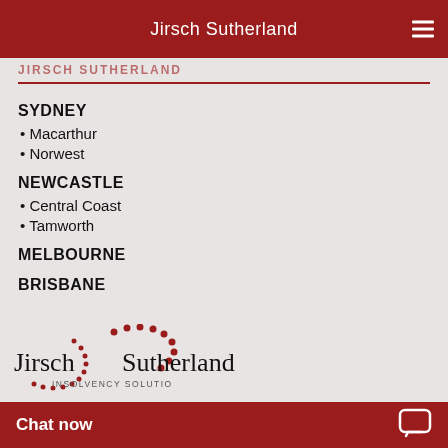Jirsch Sutherland
JIRSCH SUTHERLAND
SYDNEY
Macarthur
Norwest
NEWCASTLE
Central Coast
Tamworth
MELBOURNE
BRISBANE
[Figure (logo): Jirsch Sutherland Insolvency Solutions logo with red dotted arc]
Chat now